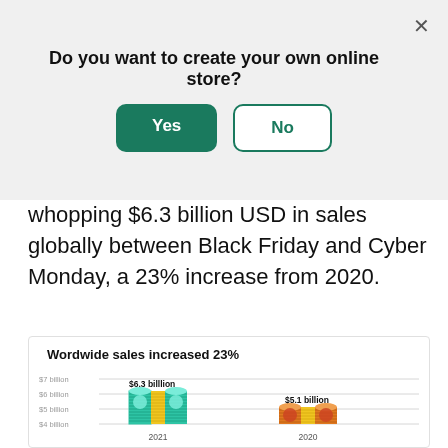Do you want to create your own online store?
whopping $6.3 billion USD in sales globally between Black Friday and Cyber Monday, a 23% increase from 2020.
[Figure (bar-chart): Wordwide sales increased 23%]